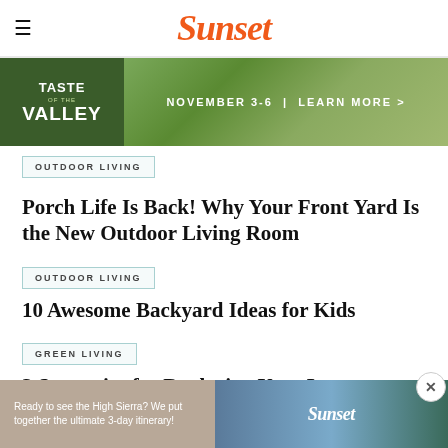Sunset
[Figure (photo): Advertisement banner for Taste of the Valley event, November 3-6, with vineyard landscape background. Text: TASTE OF THE VALLEY | NOVEMBER 3-6 | LEARN MORE >]
Porch Life Is Back! Why Your Front Yard Is the New Outdoor Living Room
OUTDOOR LIVING
10 Awesome Backyard Ideas for Kids
GREEN LIVING
3 Strategies for Replacing Your Lawn
[Figure (photo): Bottom advertisement banner: Ready to see the High Sierra? We put together the ultimate 3-day itinerary! with Sunset logo and mountain lake photo]